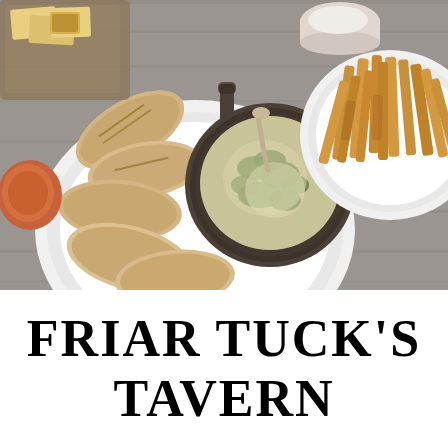[Figure (photo): Overhead view of restaurant table with dishes including spinach artichoke dip in a cast iron skillet with pita bread on a white plate, french fries on a white plate, and other appetizers on a gray wooden table surface.]
FRIAR TUCK'S TAVERN